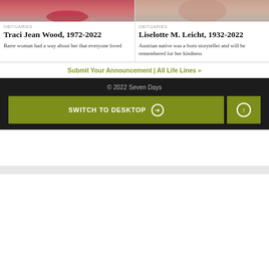[Figure (photo): Close-up photo of woman's face (Traci Jean Wood), partially cropped, red lips visible]
OBITUARIES
Traci Jean Wood, 1972-2022
Barre woman had a way about her that everyone loved
[Figure (photo): Close-up photo of woman's face (Liselotte M. Leicht), partially cropped, smiling]
OBITUARIES
Liselotte M. Leicht, 1932-2022
Austrian native was a born storyteller and will be remembered for her kindness
Submit Your Announcement | All Life Lines »
© 2022 Seven Days
SWITCH TO DESKTOP →
↑